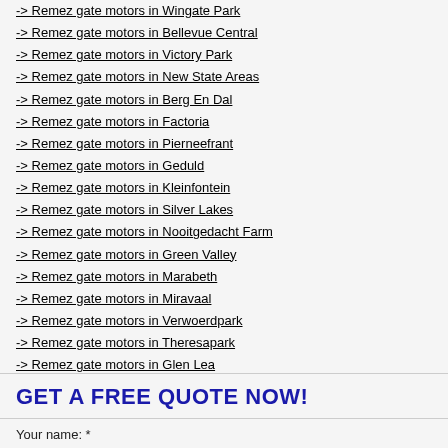-> Remez gate motors in Wingate Park
-> Remez gate motors in Bellevue Central
-> Remez gate motors in Victory Park
-> Remez gate motors in New State Areas
-> Remez gate motors in Berg En Dal
-> Remez gate motors in Factoria
-> Remez gate motors in Pierneefrant
-> Remez gate motors in Geduld
-> Remez gate motors in Kleinfontein
-> Remez gate motors in Silver Lakes
-> Remez gate motors in Nooitgedacht Farm
-> Remez gate motors in Green Valley
-> Remez gate motors in Marabeth
-> Remez gate motors in Miravaal
-> Remez gate motors in Verwoerdpark
-> Remez gate motors in Theresapark
-> Remez gate motors in Glen Lea
-> Remez gate motors in Kirkney
-> Remez gate motors in Amandasig
GET A FREE QUOTE NOW!
Your name: *